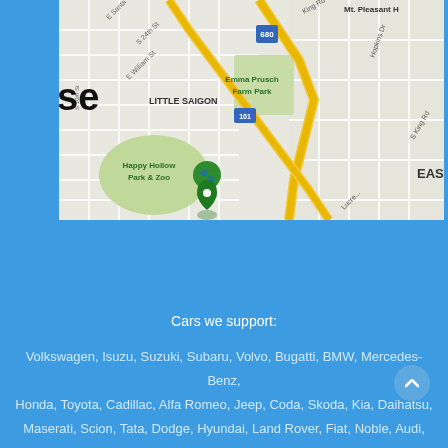[Figure (map): Google Maps view showing San Jose area including Little Saigon, Emma Prusch Farm Park, Happy Hollow Park & Zoo, highway 680 and 101 intersections, Mt. Pleasant Hill area, S King Rd, Hopkins Dr, Lucretia Ave, and surrounding streets.]
Cars we support:
Volkswagen, Isuzu, Suzuki, Subaru, Volvo, Bugatti, BMW, Mercedes-Benz, Honda, Toyota, Cadillac, Alfa Romeo, Jeep, Coda, Skoda, Kia, Daihatsu, Maserati, Scion, Tata, Dodge, Hyundai, Land Rover, Fiat, Noble, Audi, Morgan,